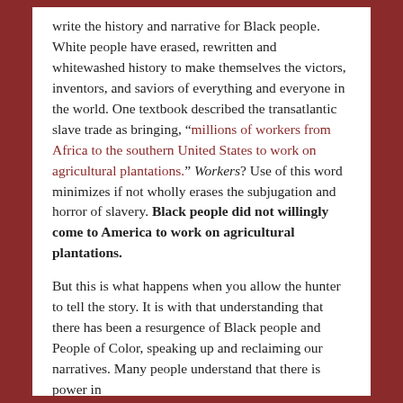write the history and narrative for Black people. White people have erased, rewritten and whitewashed history to make themselves the victors, inventors, and saviors of everything and everyone in the world. One textbook described the transatlantic slave trade as bringing, “millions of workers from Africa to the southern United States to work on agricultural plantations.” Workers? Use of this word minimizes if not wholly erases the subjugation and horror of slavery. Black people did not willingly come to America to work on agricultural plantations.
But this is what happens when you allow the hunter to tell the story. It is with that understanding that there has been a resurgence of Black people and People of Color, speaking up and reclaiming our narratives. Many people understand that there is power in